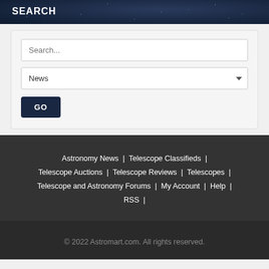SEARCH
Search...
News
GO
Astronomy News | Telescope Classifieds | Telescope Auctions | Telescope Reviews | Telescopes | Telescope and Astronomy Forums | My Account | Help | RSS |
© 2022 Astromart.com. All rights reserved.